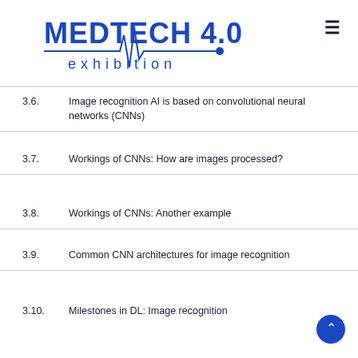MEDTECH 4.0 exhibition
3.6.   Image recognition AI is based on convolutional neural networks (CNNs)
3.7.   Workings of CNNs: How are images processed?
3.8.   Workings of CNNs: Another example
3.9.   Common CNN architectures for image recognition
3.10.  Milestones in DL: Image recognition